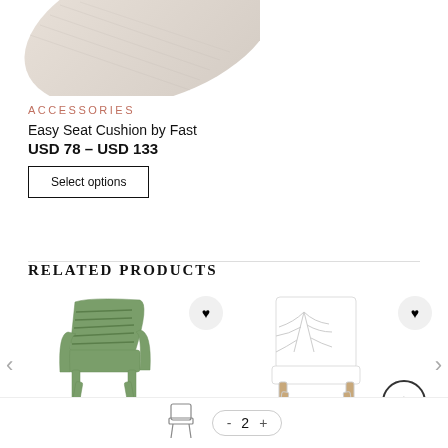[Figure (photo): Partial view of a beige/cream Easy Seat Cushion by Fast, angled product shot, upper portion cropped]
ACCESSORIES
Easy Seat Cushion by Fast
USD 78 – USD 133
Select options
RELATED PRODUCTS
[Figure (photo): Green plastic lattice lounge chair with matching legs, viewed at slight angle]
[Figure (photo): White plastic chair with tree-branch pattern back on light wood legs]